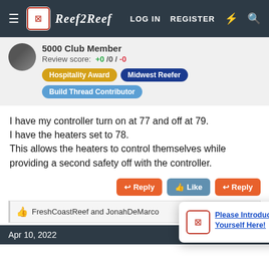Reef2Reef — LOG IN  REGISTER
5000 Club Member
Review score: +0 /0 /-0
Hospitality Award  Midwest Reefer  Build Thread Contributor
I have my controller turn on at 77 and off at 79. I have the heaters set to 78. This allows the heaters to control themselves while providing a second safety off with the controller.
FreshCoastReef and JonahDeMarco
[Figure (screenshot): Popup notification with logo icon and text: Please Introduce Yourself Here!]
Apr 10, 2022